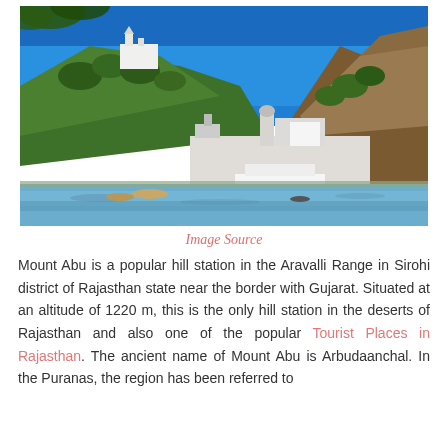[Figure (photo): Photograph of Mount Abu showing a lake in the foreground with boats, white buildings and temples on the hillside, and rocky hills with trees under a clear blue sky.]
Image Source
Mount Abu is a popular hill station in the Aravalli Range in Sirohi district of Rajasthan state near the border with Gujarat. Situated at an altitude of 1220 m, this is the only hill station in the deserts of Rajasthan and also one of the popular Tourist Places in Rajasthan. The ancient name of Mount Abu is Arbudaanchal. In the Puranas, the region has been referred to